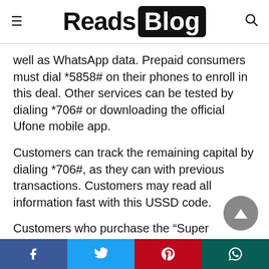Reads Blog
well as WhatsApp data. Prepaid consumers must dial *5858# on their phones to enroll in this deal. Other services can be tested by dialing *706# or downloading the official Ufone mobile app.
Customers can track the remaining capital by dialing *706#, as they can with previous transactions. Customers may read all information fast with this USSD code.
Customers who purchase the “Super Internet+ Bundle will receive an rs. 499 charge, 5 GB of
Facebook | Twitter | Pinterest | WhatsApp